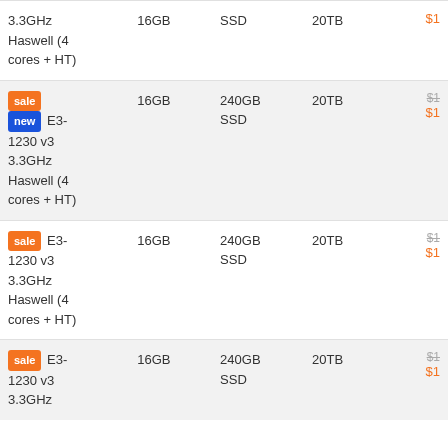| CPU | RAM | Storage | Bandwidth | Price |
| --- | --- | --- | --- | --- |
| 3.3GHz Haswell (4 cores + HT) | 16GB | SSD | 20TB | $1... |
| sale new E3-1230 v3 3.3GHz Haswell (4 cores + HT) | 16GB | 240GB SSD | 20TB | $1... |
| sale E3-1230 v3 3.3GHz Haswell (4 cores + HT) | 16GB | 240GB SSD | 20TB | $1... |
| sale E3-1230 v3 3.3GHz | 16GB | 240GB SSD | 20TB | $1... |